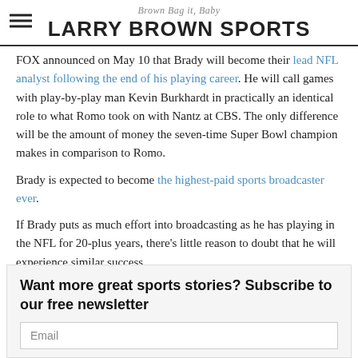Brown Bag it, Baby
LARRY BROWN SPORTS
FOX announced on May 10 that Brady will become their lead NFL analyst following the end of his playing career. He will call games with play-by-play man Kevin Burkhardt in practically an identical role to what Romo took on with Nantz at CBS. The only difference will be the amount of money the seven-time Super Bowl champion makes in comparison to Romo.
Brady is expected to become the highest-paid sports broadcaster ever.
If Brady puts as much effort into broadcasting as he has playing in the NFL for 20-plus years, there’s little reason to doubt that he will experience similar success.
Want more great sports stories? Subscribe to our free newsletter
Email